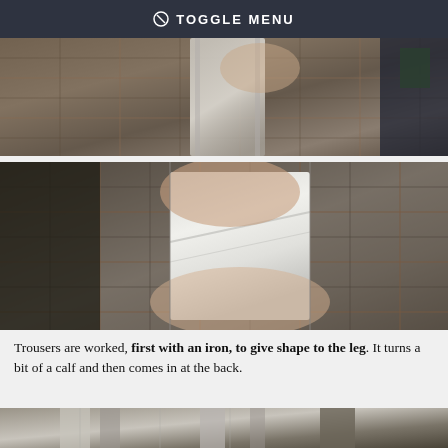TOGGLE MENU
[Figure (photo): Close-up of hands working on plaid/checked wool fabric, showing tailoring work with what appears to be a strap or band on the garment.]
[Figure (photo): Close-up of hands manipulating white fabric or interfacing material against a plaid wool trouser, showing ironwork or shaping process in tailoring.]
Trousers are worked, first with an iron, to give shape to the leg. It turns a bit of a calf and then comes in at the back.
[Figure (photo): Partial view of a tailoring workspace, showing trouser legs or fabric hanging.]